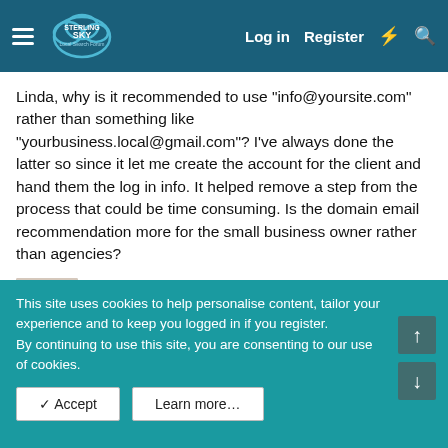Sterling Sky Local Search Forum — Log in | Register
Linda, why is it recommended to use "info@yoursite.com" rather than something like "yourbusiness.local@gmail.com"? I've always done the latter so since it let me create the account for the client and hand them the log in info. It helped remove a step from the process that could be time consuming. Is the domain email recommendation more for the small business owner rather than agencies?
Linda Buquet — Moderator | Local Search Expert
Jan 24, 2013  #14
This site uses cookies to help personalise content, tailor your experience and to keep you logged in if you register.
By continuing to use this site, you are consenting to our use of cookies.
✓ Accept   Learn more...